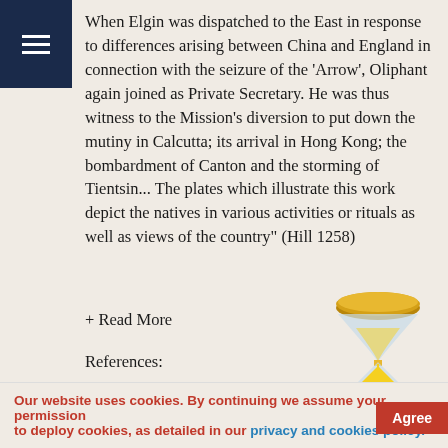When Elgin was dispatched to the East in response to differences arising between China and England in connection with the seizure of the 'Arrow', Oliphant again joined as Private Secretary. He was thus witness to the Mission's diversion to put down the mutiny in Calcutta; its arrival in Hong Kong; the bombardment of Canton and the storming of Tientsin... The plates which illustrate this work depict the natives in various activities or rituals as well as views of the country" (Hill 1258)
+ Read More
References:
Cordier Sinica III:2376; Cordier Japonica 546-7; Hill 1258
[Figure (illustration): Hourglass emoji/icon with golden top and bottom discs, yellow sand in the lower chamber]
Our website uses cookies. By continuing we assume your permission to deploy cookies, as detailed in our privacy and cookies policy.